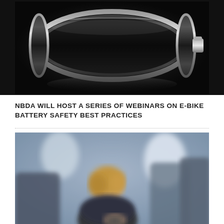[Figure (photo): A dark-background product photo of a cylindrical battery shown horizontally with a transparent casing, glowing silver rim details, and a metallic positive terminal on the right side. The battery is mostly empty/dark inside, reflecting off a dark surface below.]
NBDA WILL HOST A SERIES OF WEBINARS ON E-BIKE BATTERY SAFETY BEST PRACTICES
[Figure (photo): A blurred photo taken inside an airplane cabin. A blonde woman in a dark jacket is seated and looking down at a smartphone or device in her hands. Airplane seats and windows are visible in the background with a blue/grey color palette.]